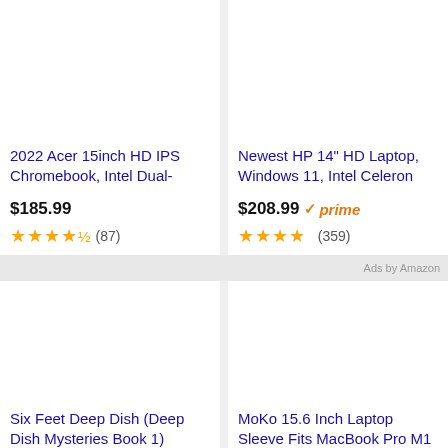[Figure (screenshot): Product image area for Acer Chromebook (blank/white image area)]
2022 Acer 15inch HD IPS Chromebook, Intel Dual-
$185.99
★★★★½ (87)
[Figure (screenshot): Product image area for HP Laptop (blank/white image area)]
Newest HP 14" HD Laptop, Windows 11, Intel Celeron
$208.99 ✓prime
★★★★ (359)
Ads by Amazon
[Figure (screenshot): Product image area for Six Feet Deep Dish book (blank/white image area)]
Six Feet Deep Dish (Deep Dish Mysteries Book 1)
[Figure (screenshot): Product image area for MoKo Laptop Sleeve (blank/white image area)]
MoKo 15.6 Inch Laptop Sleeve Fits MacBook Pro M1